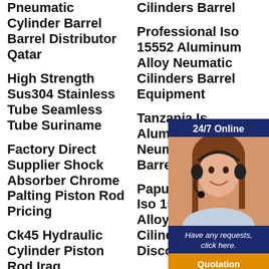Pneumatic Cylinder Barrel Barrel Distributor Qatar
High Strength Sus304 Stainless Tube Seamless Tube Suriname
Factory Direct Supplier Shock Absorber Chrome Palting Piston Rod Pricing
Ck45 Hydraulic Cylinder Piston Rod Iraq
Cheapest Round…
Cilinders Barrel
Professional Iso 15552 Aluminum Alloy Neumatic Cilinders Barrel Equipment
Tanzania Is… Aluminum Neumatic C… Barrel Mate…
Papua New… Iso 15552 A… Alloy Neum… Cilinders T… Discount
High Efficiency
[Figure (infographic): Chat support widget with '24/7 Online' header, photo of female customer service agent with headset, text 'Have any requests, click here.' and orange 'Quotation' button]